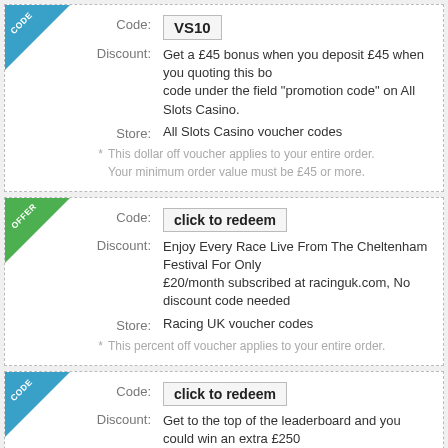Code: VS10
Discount: Get a £45 bonus when you deposit £45 when you quoting this bonus code under the field "promotion code" on All Slots Casino.
Store: All Slots Casino voucher codes
* This dollar off voucher applies to your entire order. Your minimum order value must be £45 or more.
Code: click to redeem
Discount: Enjoy Every Race Live From The Cheltenham Festival For Only £20/month subscribed at racinguk.com, No discount code needed
Store: Racing UK voucher codes
* This percent off voucher applies to your entire order.
Code: click to redeem
Discount: Get to the top of the leaderboard and you could win an extra £250 the game of the week - Triple Treasure. Valid until the 8th November. Top prize: £15,000 * Bet from only 1p to £10 * 5 reels * 25 lines